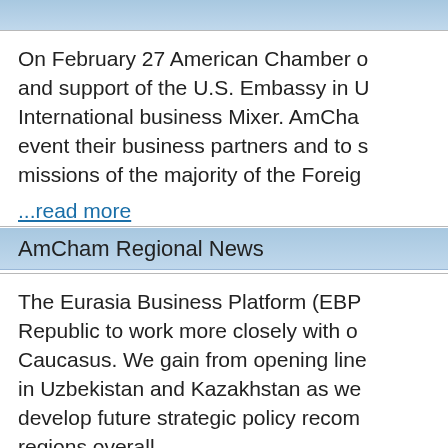AmCham Regional News
On February 27 American Chamber of Commerce, with assistance and support of the U.S. Embassy in Ukraine, organized the 12th International business Mixer. AmCham members could invite to this event their business partners and to strengthen contacts with diplomatic missions of the majority of the Foreign countries.
...read more
The Eurasia Business Platform (EBP) allows the Kyrgyz Republic to work more closely with our partners in the Central Asia and Caucasus. We gain from opening lines of communication with partners in Uzbekistan and Kazakhstan as well as other areas. It helps us develop future strategic policy recommendations affecting multiple regions overall.
...read more
Interview - USA Ambassador H.E. Jo
I have tremendously enjoyed working with the Chamber of Commerce. It is from you, the practitioners in business, about the challenges you face. The b